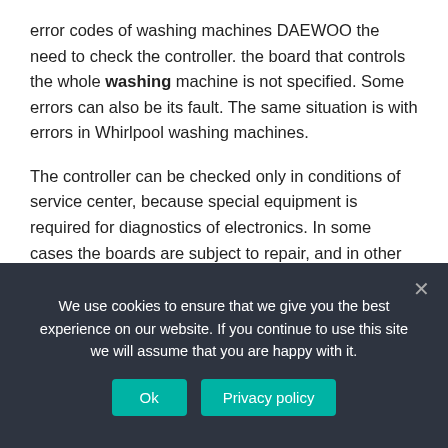error codes of washing machines DAEWOO the need to check the controller. the board that controls the whole washing machine is not specified. Some errors can also be its fault. The same situation is with errors in Whirlpool washing machines.

The controller can be checked only in conditions of service center, because special equipment is required for diagnostics of electronics. In some cases the boards are subject to repair, and in other cases they are simply replaced. On our site you can also find error codes of washing machines Elgi.
We use cookies to ensure that we give you the best experience on our website. If you continue to use this site we will assume that you are happy with it.